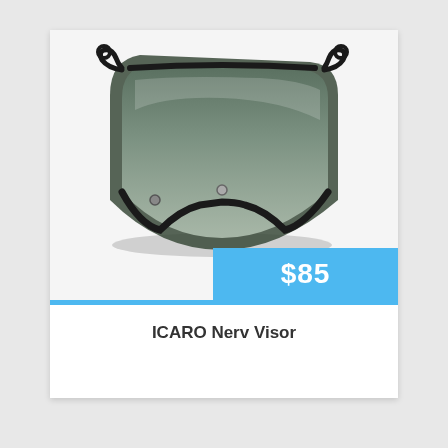[Figure (photo): A dark tinted helmet visor/shield (ICARO Nerv Visor) with a curved bottom edge and mounting brackets at top corners, shown against a light background. A blue price badge showing $85 overlays the bottom-right of the image.]
$85
ICARO Nerv Visor